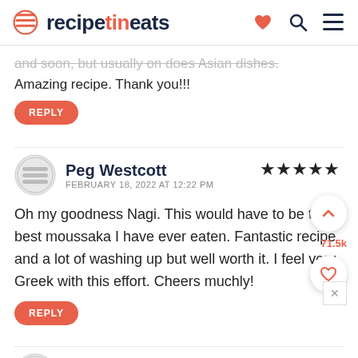recipetineats
and soon, but usually on does Asian dishes. Amazing recipe. Thank you!!!
REPLY
Peg Westcott
FEBRUARY 18, 2022 AT 12:22 PM
★★★★★
Oh my goodness Nagi. This would have to be the best moussaka I have ever eaten. Fantastic recipe and a lot of washing up but well worth it. I feel very Greek with this effort. Cheers muchly!
REPLY
Jenna Carter
FEBRUARY 6, 2022 AT 8:00 PM
Just wondering how I would substitute the